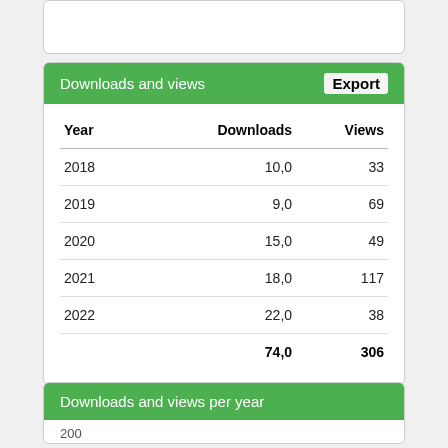| Year | Downloads | Views |
| --- | --- | --- |
| 2018 | 10,0 | 33 |
| 2019 | 9,0 | 69 |
| 2020 | 15,0 | 49 |
| 2021 | 18,0 | 117 |
| 2022 | 22,0 | 38 |
|  | 74,0 | 306 |
Downloads and views per year